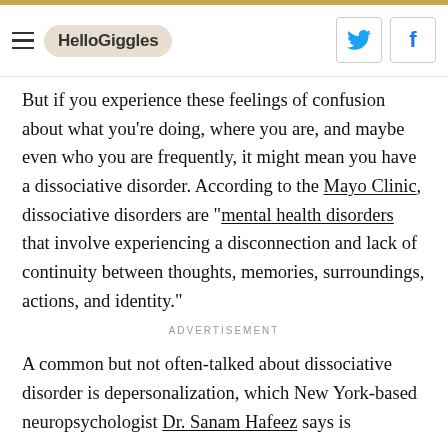HelloGiggles
But if you experience these feelings of confusion about what you're doing, where you are, and maybe even who you are frequently, it might mean you have a dissociative disorder. According to the Mayo Clinic, dissociative disorders are "mental health disorders that involve experiencing a disconnection and lack of continuity between thoughts, memories, surroundings, actions, and identity."
ADVERTISEMENT
A common but not often-talked about dissociative disorder is depersonalization, which New York-based neuropsychologist Dr. Sanam Hafeez says is